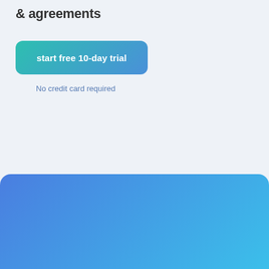& agreements
[Figure (other): A teal-to-blue gradient button labeled 'start free 10-day trial']
No credit card required
Request A Free Demo
Eliminate the need for printing, signing, copying, scanning and filing paper forms. See how Forms Live will transform your